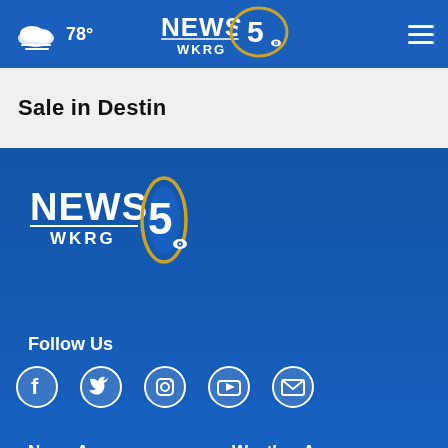78° NEWS 5 WKRG
Sale in Destin
[Figure (logo): NEWS 5 WKRG logo in footer]
Follow Us
[Figure (infographic): Social media icons: Facebook, Twitter, Instagram, YouTube, Email]
News App
Weather App
[Figure (screenshot): Download on the App Store button for News App]
[Figure (screenshot): Download on the App Store button for Weather App]